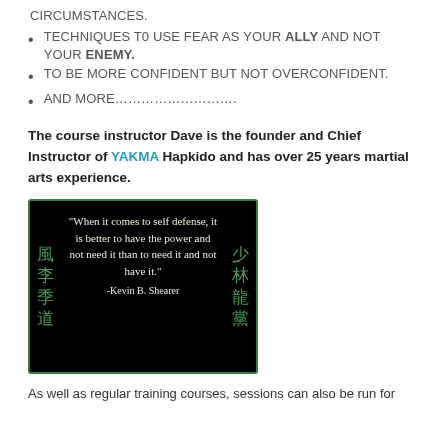CIRCUMSTANCES.
TECHNIQUES T0 USE FEAR AS YOUR ALLY AND NOT YOUR ENEMY.
TO BE MORE CONFIDENT BUT NOT OVERCONFIDENT.
AND MORE……………………..
The course instructor Dave is the founder and Chief Instructor of YAKMA Hapkido and has over 25 years martial arts experience.
[Figure (illustration): Black background quote card with green border and Chinese/Japanese kanji characters on left and right sides. Quote reads: "When it comes to self defense, it is better to have the power and not need it than to need it and not have it." attributed to -Kevin B. Shearer]
As well as regular training courses, sessions can also be run for